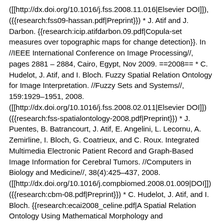([[http://dx.doi.org/10.1016/j.fss.2008.11.016|Elsevier DOI]]), ({{research:fss09-hassan.pdf|Preprint}}) * J. Atif and J. Darbon. {{research:icip.atifdarbon.09.pdf|Copula-set measures over topographic maps for change detection}}. In //IEEE International Conference on Image Processing//, pages 2881 – 2884, Cairo, Egypt, Nov 2009. ==2008== * C. Hudelot, J. Atif, and I. Bloch. Fuzzy Spatial Relation Ontology for Image Interpretation. //Fuzzy Sets and Systems//, 159:1929–1951, 2008. ([[http://dx.doi.org/10.1016/j.fss.2008.02.011|Elsevier DOI]])({{research:fss-spatialontology-2008.pdf|Preprint}}) * J. Puentes, B. Batrancourt, J. Atif, E. Angelini, L. Lecornu, A. Zemirline, I. Bloch, G. Coatrieux, and C. Roux. Integrated Multimedia Electronic Patient Record and Graph-Based Image Information for Cerebral Tumors. //Computers in Biology and Medicine//, 38(4):425–437, 2008. ([[http://dx.doi.org/10.1016/j.compbiomed.2008.01.009|DOI]]) ({{research:cbm-08.pdf|Preprint}}) * C. Hudelot, J. Atif, and I. Bloch. {{research:ecai2008_celine.pdf|A Spatial Relation Ontology Using Mathematical Morphology and...